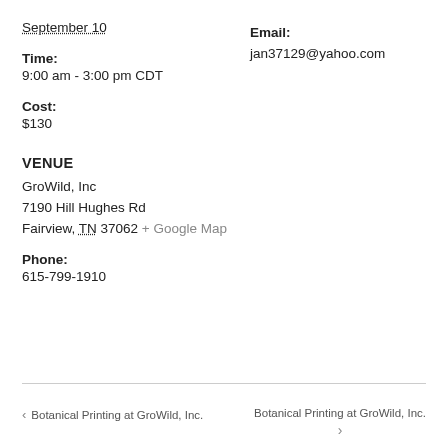September 10
Email:
Time:
jan37129@yahoo.com
9:00 am - 3:00 pm CDT
Cost:
$130
VENUE
GroWild, Inc
7190 Hill Hughes Rd
Fairview, TN 37062 + Google Map
Phone:
615-799-1910
< Botanical Printing at GroWild, Inc.    Botanical Printing at GroWild, Inc. >